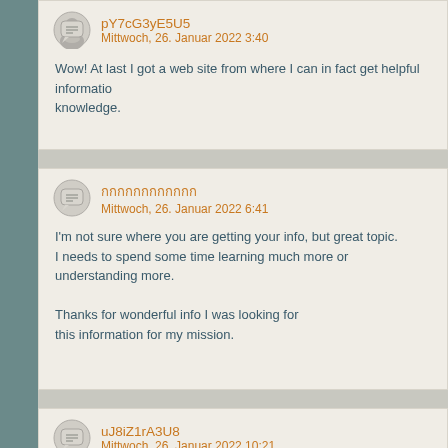pY7cG3yE5U5
Mittwoch, 26. Januar 2022 3:40

Wow! At last I got a web site from where I can in fact get helpful informatio knowledge.
กกกกกกกกกกกก
Mittwoch, 26. Januar 2022 6:41

I'm not sure where you are getting your info, but great topic.
I needs to spend some time learning much more or understanding more.

Thanks for wonderful info I was looking for
this information for my mission.
uJ8iZ1rA3U8
Mittwoch, 26. Januar 2022 10:21

Very good blog post. I absolutely appreciate this website.
Continue the good work!